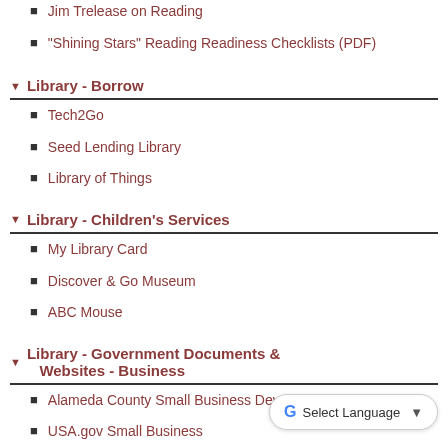Jim Trelease on Reading
"Shining Stars" Reading Readiness Checklists (PDF)
Library - Borrow
Tech2Go
Seed Lending Library
Library of Things
Library - Children's Services
My Library Card
Discover & Go Museum
ABC Mouse
Library - Government Documents & Websites - Business
Alameda County Small Business Development
USA.gov Small Business
California Business Portal